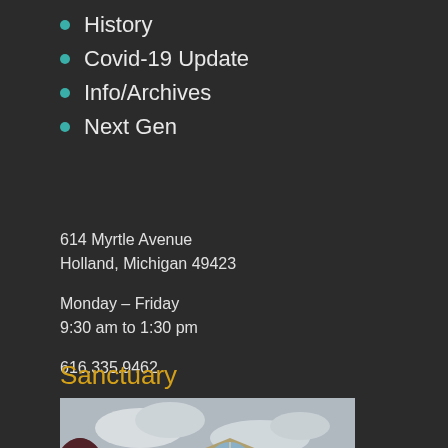History
Covid-19 Update
Info/Archives
Next Gen
614 Myrtle Avenue
Holland, Michigan 49423
Monday – Friday
9:30 am to 1:30 pm
616.335.9462
Sanctuary
[Figure (photo): Exterior photo of a church/sanctuary building with a large arched window, stone facade, and a tree with red/purple leaves in the foreground against a cloudy sky.]